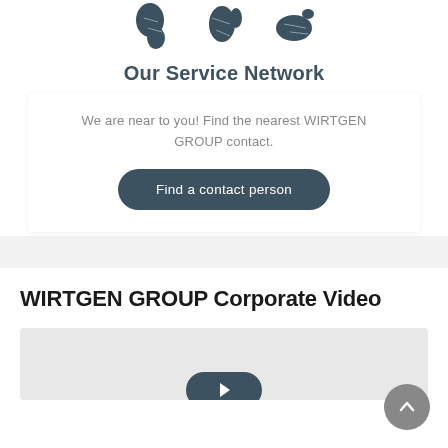[Figure (illustration): Three continent/region map silhouette icons (South America, Africa/East Africa, Australia) in dark teal color]
Our Service Network
We are near to you! Find the nearest WIRTGEN GROUP contact.
[Figure (other): Button: Find a contact person]
WIRTGEN GROUP Corporate Video
[Figure (screenshot): Video thumbnail area with a play button visible at bottom center]
[Figure (other): Back to top circular button with upward chevron, grey, bottom right corner]